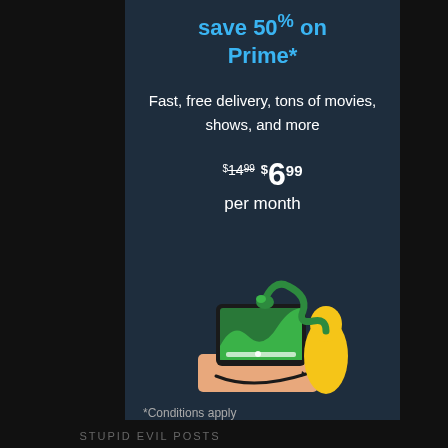save 50% on Prime*
Fast, free delivery, tons of movies, shows, and more
$14.99 $6.99 per month
[Figure (illustration): Amazon Prime promotional illustration showing a tablet/device with green graphic content, an Amazon smile box, and a yellow character/mascot]
*Conditions apply
STUPID EVIL POSTS